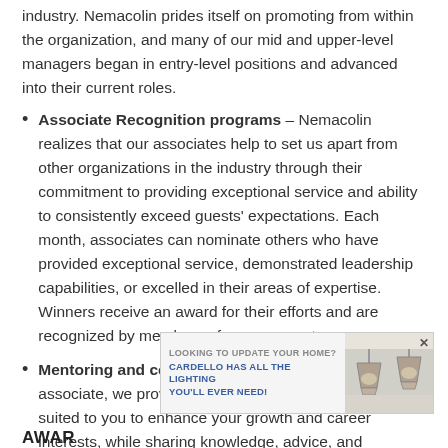industry. Nemacolin prides itself on promoting from within the organization, and many of our mid and upper-level managers began in entry-level positions and advanced into their current roles.
Associate Recognition programs – Nemacolin realizes that our associates help to set us apart from other organizations in the industry through their commitment to providing exceptional service and ability to consistently exceed guests' expectations. Each month, associates can nominate others who have provided exceptional service, demonstrated leadership capabilities, or excelled in their areas of expertise. Winners receive an award for their efforts and are recognized by members of management.
Mentoring and coaching programs – As a new associate, we provide a level of mentoring that is best suited to you to enhance your growth and career interests, while sharing knowledge, advice, and
[Figure (other): Advertisement banner: 'LOOKING TO UPDATE YOUR HOME? CARDELLO HAS ALL THE LIGHTING YOU'LL EVER NEED!' with pendant lamp image]
AWAR